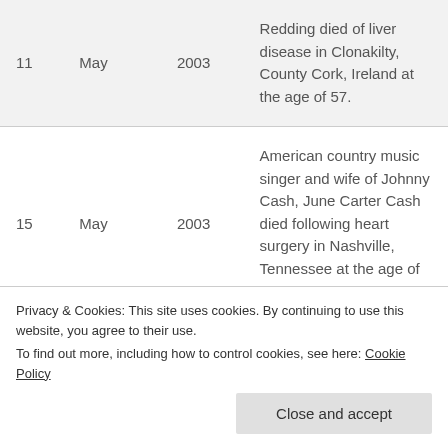| 11 | May | 2003 | Redding died of liver disease in Clonakilty, County Cork, Ireland at the age of 57. |
| 15 | May | 2003 | American country music singer and wife of Johnny Cash, June Carter Cash died following heart surgery in Nashville, Tennessee at the age of 73. |
| 30 | May | 2003 | Successful English record producer behind many massive chart hits, Mickie Most died from abdominal cancer at his home in |
Privacy & Cookies: This site uses cookies. By continuing to use this website, you agree to their use.
To find out more, including how to control cookies, see here: Cookie Policy
Close and accept
The Thief'.